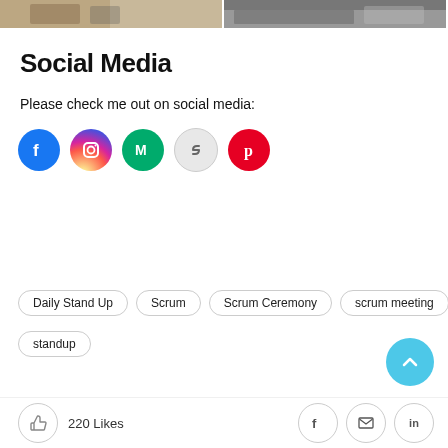[Figure (photo): Two photos side by side at the top of the page — left shows people standing, right shows a person at a desk with a laptop]
Social Media
Please check me out on social media:
[Figure (infographic): Row of 5 social media icon circles: Facebook (blue), Instagram (pink/magenta gradient), Medium (green), Link (light grey), Pinterest (red)]
Daily Stand Up
Scrum
Scrum Ceremony
scrum meeting
standup
220 Likes